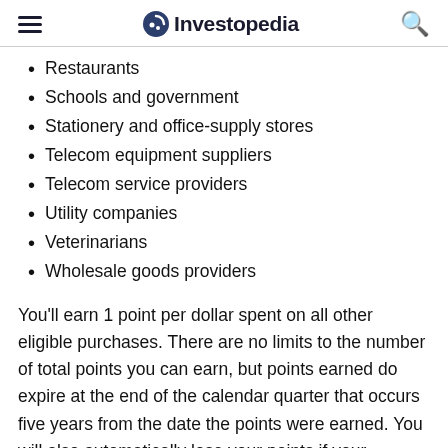Investopedia
Restaurants
Schools and government
Stationery and office-supply stores
Telecom equipment suppliers
Telecom service providers
Utility companies
Veterinarians
Wholesale goods providers
You'll earn 1 point per dollar spent on all other eligible purchases. There are no limits to the number of total points you can earn, but points earned do expire at the end of the calendar quarter that occurs five years from the date the points were earned. You will also automatically lose your points if your account is closed